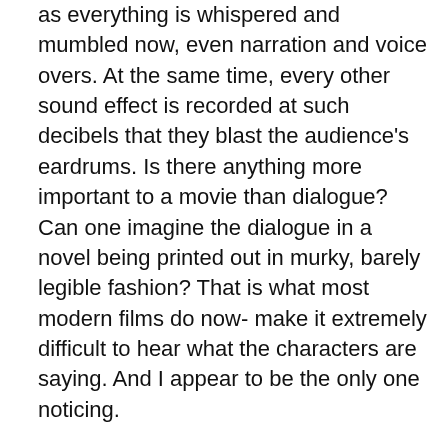as everything is whispered and mumbled now, even narration and voice overs. At the same time, every other sound effect is recorded at such decibels that they blast the audience's eardrums. Is there anything more important to a movie than dialogue? Can one imagine the dialogue in a novel being printed out in murky, barely legible fashion? That is what most modern films do now- make it extremely difficult to hear what the characters are saying. And I appear to be the only one noticing.

In addition to whispered dialogue, many films have recently begun featuring incredibly poor lighting, so that night scenes in particular are barely visible. It's as if they're filming by candlelight. Who decides that this is an innovation? How is it an improvement, or some kind of progress, to force audiences to strain to hear and see what's transpiring on screen? The Dark Knight Rises was